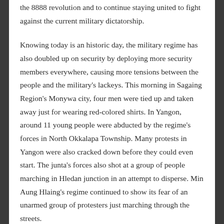the 8888 revolution and to continue staying united to fight against the current military dictatorship.
Knowing today is an historic day, the military regime has also doubled up on security by deploying more security members everywhere, causing more tensions between the people and the military's lackeys. This morning in Sagaing Region's Monywa city, four men were tied up and taken away just for wearing red-colored shirts. In Yangon, around 11 young people were abducted by the regime's forces in North Okkalapa Township. Many protests in Yangon were also cracked down before they could even start. The junta's forces also shot at a group of people marching in Hledan junction in an attempt to disperse. Min Aung Hlaing's regime continued to show its fear of an unarmed group of protesters just marching through the streets.